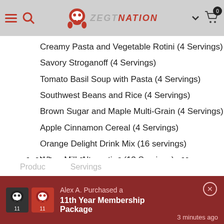ZEGTNation navigation bar with hamburger menu, search icon, logo, and cart
Creamy Pasta and Vegetable Rotini (4 Servings)
Savory Stroganoff (4 Servings)
Tomato Basil Soup with Pasta (4 Servings)
Southwest Beans and Rice (4 Servings)
Brown Sugar and Maple Multi-Grain (4 Servings)
Apple Cinnamon Cereal (4 Servings)
Orange Delight Drink Mix (16 servings)
Whey Milk Alternative (12 Servings)
Additional Product Details:
Includes 1 total bucket
Alex A. Purchased a
11th Year Membership Package
3 minutes ago